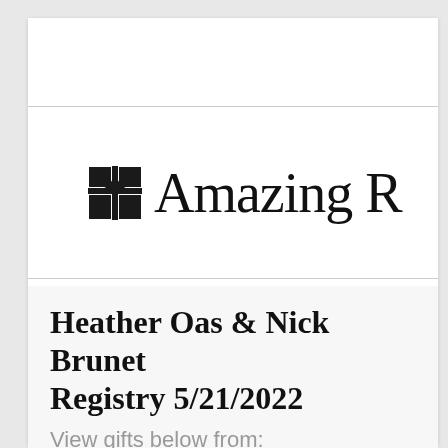[Figure (logo): Amazing Registry logo: a gift box icon (black square with cross/ribbon) alongside the cursive text 'Amazing R...' (partially cropped)]
Heather Oas & Nick Brunet Registry 5/21/2022
View gifts below from:
[Figure (logo): Target logo (red bullseye circle, partially cropped at bottom)]